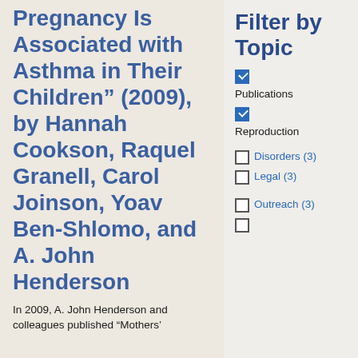Pregnancy Is Associated with Asthma in Their Children” (2009), by Hannah Cookson, Raquel Granell, Carol Joinson, Yoav Ben-Shlomo, and A. John Henderson
In 2009, A. John Henderson and colleagues published “Mothers’
Filter by Topic
Publications (checked)
Reproduction (checked)
Disorders (3)
Legal (3)
Outreach (3)